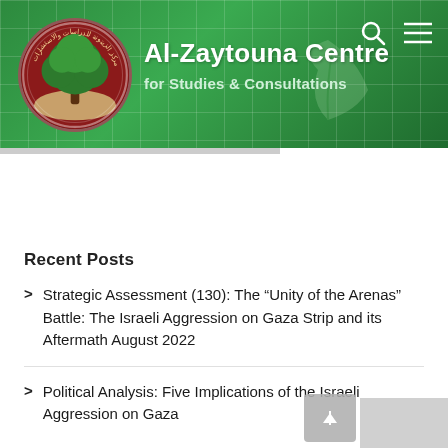[Figure (logo): Al-Zaytouna Centre logo: circular emblem with dark red background, green tree (oak/olive) in center, Arabic text around the border]
Al-Zaytouna Centre
for Studies & Consultations
Recent Posts
Strategic Assessment (130): The “Unity of the Arenas” Battle: The Israeli Aggression on Gaza Strip and its Aftermath August 2022
Political Analysis: Five Implications of the Israeli Aggression on Gaza